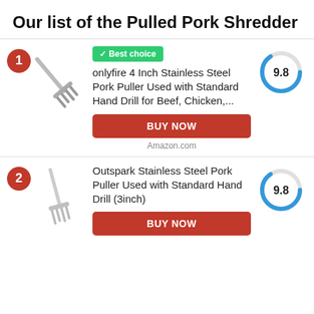Our list of the Pulled Pork Shredder
✓ Best choice
onlyfire 4 Inch Stainless Steel Pork Puller Used with Standard Hand Drill for Beef, Chicken,...
BUY NOW
Amazon.com
Score: 9.8
Outspark Stainless Steel Pork Puller Used with Standard Hand Drill (3inch)
BUY NOW
Score: 9.8